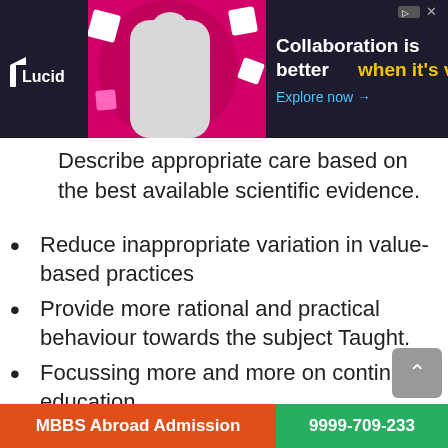[Figure (screenshot): Lucid advertisement banner with dark background, logo, image of person with pink background, and text 'Collaboration is better when it's visual. Explore now →']
Describe appropriate care based on the best available scientific evidence.
Reduce inappropriate variation in value-based practices
Provide more rational and practical behaviour towards the subject Taught.
Focussing more and more on continuing education
To promote efficient use of available resources
MBBS Abroad Admission   9999-709-233